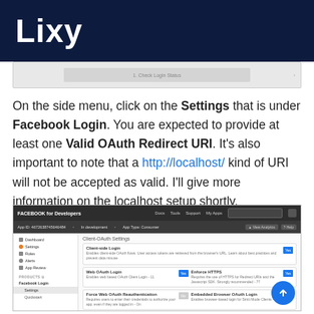Lixy
[Figure (screenshot): Top portion of a browser screenshot showing a check login status UI element]
On the side menu, click on the Settings that is under Facebook Login. You are expected to provide at least one Valid OAuth Redirect URI. It's also important to note that a http://localhost/ kind of URI will not be accepted as valid. I'll give more information on the localhost setup shortly.
[Figure (screenshot): Facebook for Developers settings page showing Facebook Login settings including OAuth settings, Valid OAuth Redirect URIs, and other configuration options with a sidebar navigation showing Dashboard, Settings, Roles, Alerts, App Review sections and Facebook Login > Settings selected]